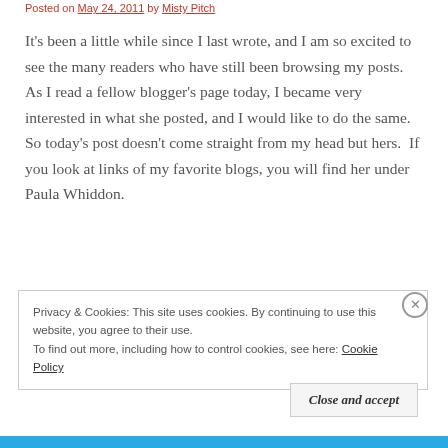Posted on May 24, 2011 by Misty Pitch
It's been a little while since I last wrote, and I am so excited to see the many readers who have still been browsing my posts.  As I read a fellow blogger's page today, I became very interested in what she posted, and I would like to do the same.  So today's post doesn't come straight from my head but hers.  If you look at links of my favorite blogs, you will find her under Paula Whiddon.
Privacy & Cookies: This site uses cookies. By continuing to use this website, you agree to their use.
To find out more, including how to control cookies, see here: Cookie Policy
Close and accept